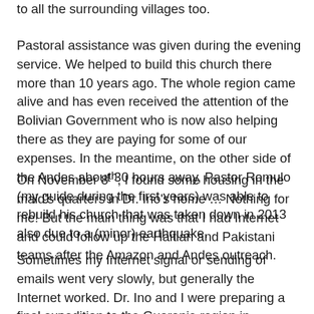to all the surrounding villages too.
Pastoral assistance was given during the evening service. We helped to build this church there more than 10 years ago. The whole region came alive and has even received the attention of the Bolivian Government who is now also helping there as they are paying for some of our expenses. In the meantime, on the other side of the Andes about 30 hours away, Pastor Romulo (my guide during the first years) was able to rebuild his church that was taken down in 2013 also due to a (minor) earthquake.
On November 8th, I found some housing in the maid's quarters in Dr. Ino's home … Nothing for me! But the main thing was that I had Internet and could follow up the Haitian and Pakistani teams after the Amazon and Andes outreach.
Sometimes my Internet signal or sending of emails went very slowly, but generally the Internet worked. Dr. Ino and I were preparing a final expedition to the Guaranie region in southern Bolivia near the Paraguayan border.